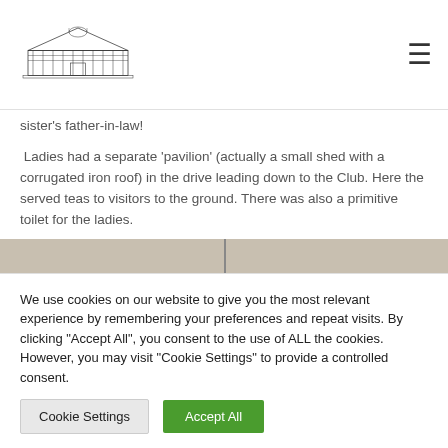[Logo: building illustration] [hamburger menu]
sister's father-in-law!
Ladies had a separate 'pavilion' (actually a small shed with a corrugated iron roof) in the drive leading down to the Club. Here the served teas to visitors to the ground. There was also a primitive toilet for the ladies.
[Figure (photo): Partial view of a historical photograph, sepia-toned, showing a wide open ground or field with a vertical post or pole visible in the centre.]
We use cookies on our website to give you the most relevant experience by remembering your preferences and repeat visits. By clicking "Accept All", you consent to the use of ALL the cookies. However, you may visit "Cookie Settings" to provide a controlled consent.